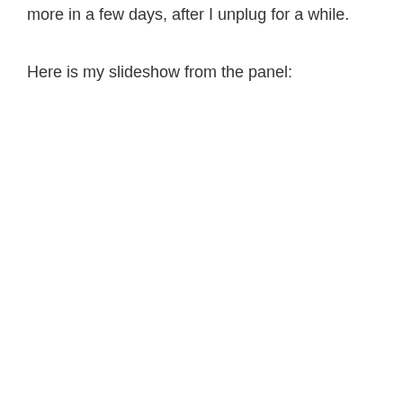more in a few days, after I unplug for a while.
Here is my slideshow from the panel: